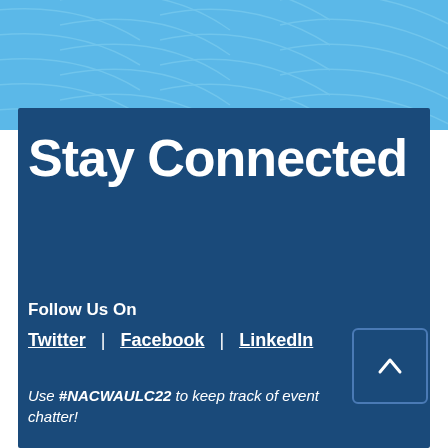[Figure (illustration): Light blue background with wave/arc decorative pattern lines]
Stay Connected
Follow Us On
Twitter | Facebook | LinkedIn
Use #NACWAULC22 to keep track of event chatter!